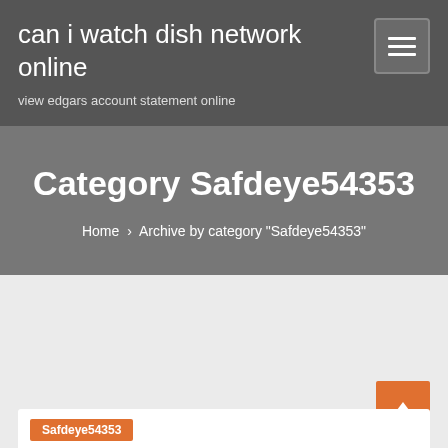can i watch dish network online
view edgars account statement online
Category Safdeye54353
Home › Archive by category "Safdeye54353"
Safdeye54353